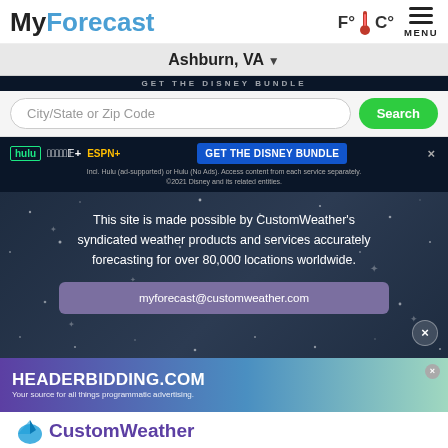MyForecast
Ashburn, VA
[Figure (screenshot): Partial Disney Bundle ad banner (hulu, Disney+, ESPN+)]
City/State or Zip Code
[Figure (screenshot): Disney Bundle advertisement: GET THE DISNEY BUNDLE. Incl. Hulu (ad-supported) or Hulu (No Ads). Access content from each service separately. ©2021 Disney and its related entities.]
This site is made possible by CustomWeather's syndicated weather products and services accurately forecasting for over 80,000 locations worldwide.
myforecast@customweather.com
[Figure (screenshot): HEADERBIDDING.COM - Your source for all things programmatic advertising.]
CustomWeather